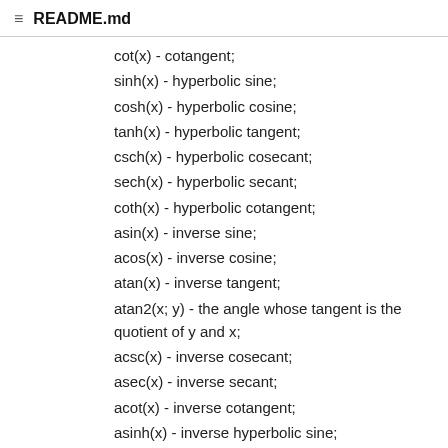README.md
cot(x) - cotangent;
sinh(x) - hyperbolic sine;
cosh(x) - hyperbolic cosine;
tanh(x) - hyperbolic tangent;
csch(x) - hyperbolic cosecant;
sech(x) - hyperbolic secant;
coth(x) - hyperbolic cotangent;
asin(x) - inverse sine;
acos(x) - inverse cosine;
atan(x) - inverse tangent;
atan2(x; y) - the angle whose tangent is the quotient of y and x;
acsc(x) - inverse cosecant;
asec(x) - inverse secant;
acot(x) - inverse cotangent;
asinh(x) - inverse hyperbolic sine;
acosh(x) - inverse hyperbolic cosine;